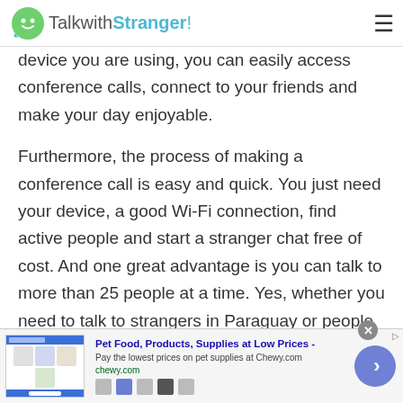TalkwithStranger!
device you are using, you can easily access conference calls, connect to your friends and make your day enjoyable.
Furthermore, the process of making a conference call is easy and quick. You just need your device, a good Wi-Fi connection, find active people and start a stranger chat free of cost. And one great advantage is you can talk to more than 25 people at a time. Yes, whether you need to talk to strangers in Paraguay or people from different countries, you can add multiple people in a group.
[Figure (screenshot): Advertisement banner for Chewy.com: Pet Food, Products, Supplies at Low Prices - with product images and navigation arrow button]